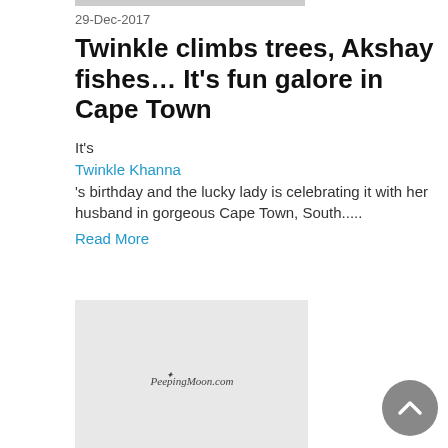29-Dec-2017
Twinkle climbs trees, Akshay fishes… It's fun galore in Cape Town
It's Twinkle Khanna 's birthday and the lucky lady is celebrating it with her husband in gorgeous Cape Town, South.....
Read More
[Figure (photo): Placeholder image with PeepingMoon.com watermark]
26-Dec-2018
Kareena Kapoor Khan, Saif Ali Khan and a sleepy Taimur jet off to London for New Year celebrations